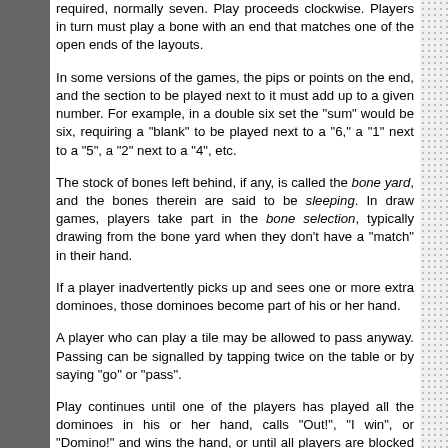required, normally seven. Play proceeds clockwise. Players in turn must play a bone with an end that matches one of the open ends of the layouts.
In some versions of the games, the pips or points on the end, and the section to be played next to it must add up to a given number. For example, in a double six set the "sum" would be six, requiring a "blank" to be played next to a "6," a "1" next to a "5", a "2" next to a "4", etc.
The stock of bones left behind, if any, is called the bone yard, and the bones therein are said to be sleeping. In draw games, players take part in the bone selection, typically drawing from the bone yard when they don't have a "match" in their hand.
If a player inadvertently picks up and sees one or more extra dominoes, those dominoes become part of his or her hand.
A player who can play a tile may be allowed to pass anyway. Passing can be signalled by tapping twice on the table or by saying "go" or "pass".
Play continues until one of the players has played all the dominoes in his or her hand, calls "Out!", "I win", or "Domino!" and wins the hand, or until all players are blocked and no legal plays remain. This is sometimes referred to as lock down or "sewed up". In a common version of the game, the next player after the block picks up all the dominoes in the bone yard as if trying to find a (non-existent) match. If all the players are blocked, or locked out the player with the lowest hand (pip count) wins. In team play, the team with the lowest individual hand wins. In the case of a tie, the first of